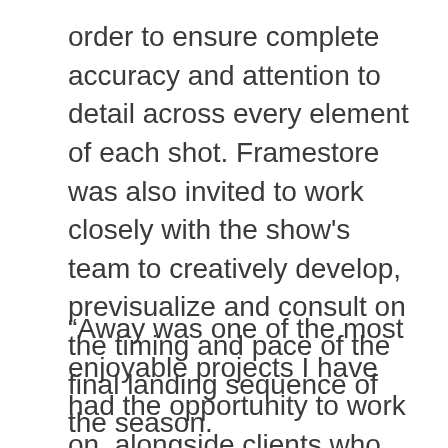order to ensure complete accuracy and attention to detail across every element of each shot. Framestore was also invited to work closely with the show's team to creatively develop, previsualize and consult on the timing and pace of the final landing sequence of the season.
“Away was one of the most enjoyable projects I have had the opportunity to work on, alongside clients who truly enabled us to be an involved, collaborative partner on their show,” said